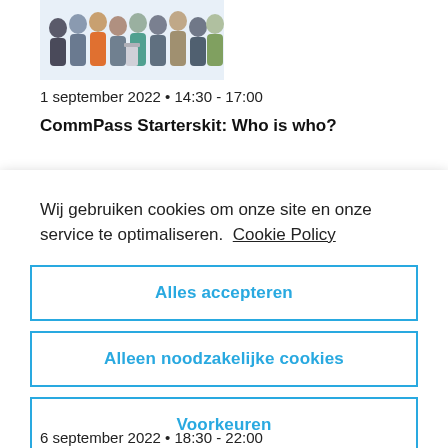[Figure (illustration): Partial view of a crowd illustration showing diverse group of people, cropped at top of page]
1 september 2022 • 14:30 - 17:00
CommPass Starterskit: Who is who?
Wij gebruiken cookies om onze site en onze service te optimaliseren.  Cookie Policy
Alles accepteren
Alleen noodzakelijke cookies
Voorkeuren
6 september 2022 • 18:30 - 22:00